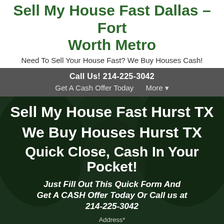Sell My House Fast Dallas – Fort Worth Metro
Need To Sell Your House Fast? We Buy Houses Cash!
Call Us! 214-225-3042
Get A Cash Offer Today   More ▾
Sell My House Fast Hurst TX
We Buy Houses Hurst TX
Quick Close, Cash In Your Pocket!
Just Fill Out This Quick Form And Get A CASH Offer Today Or Call us at 214-225-3042
Address*